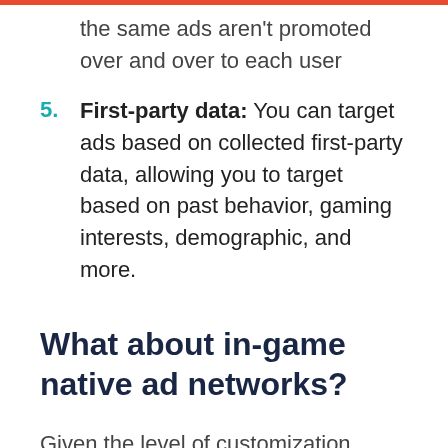the same ads aren't promoted over and over to each user
5. First-party data: You can target ads based on collected first-party data, allowing you to target based on past behavior, gaming interests, demographic, and more.
What about in-game native ad networks?
Given the level of customization involved with ad ideas like sponsored skins and branded items, you would need to work directly with advertisers for these placements.
For in-game billboards, however, there are ad